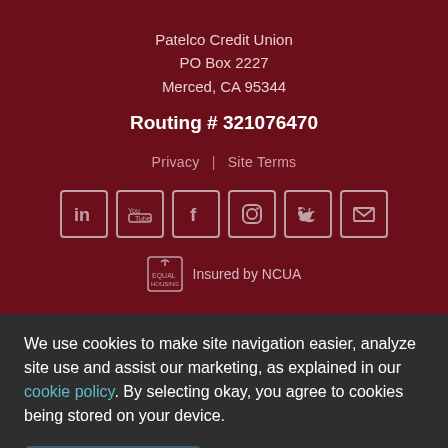Patelco Credit Union
PO Box 2227
Merced, CA 95344
Routing # 321076470
Privacy | Site Terms
[Figure (other): Social media icons row: LinkedIn, YouTube, Facebook, Instagram, Twitter, Email]
Insured by NCUA
We use cookies to make site navigation easier, analyze site use and assist our marketing, as explained in our cookie policy. By selecting okay, you agree to cookies being stored on your device.
✓ OKAY
❯ COOKIE SETTINGS